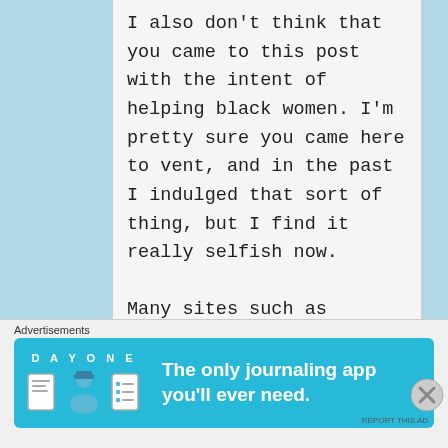I also don't think that you came to this post with the intent of helping black women. I'm pretty sure you came here to vent, and in the past I indulged that sort of thing, but I find it really selfish now.
Many sites such as Madamnoire and Gal-dem have produced articles on the topics you mention in your first post.
Feel free to miss each of my points again. I'm out.
Advertisements
[Figure (screenshot): DAY ONE journaling app advertisement banner with blue background and app icons]